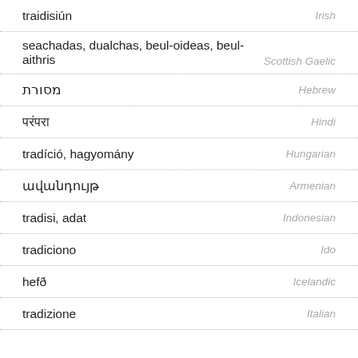traidisiún — Irish
seachadas, dualchas, beul-oideas, beul-aithris — Scottish Gaelic
מסורת — Hebrew
परंपरा — Hindi
tradíció, hagyomány — Hungarian
ավանդույթ — Armenian
tradisi, adat — Indonesian
tradiciono — Ido
hefð — Icelandic
tradizione — Italian